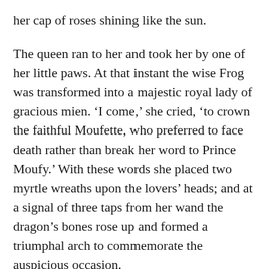her cap of roses shining like the sun.
The queen ran to her and took her by one of her little paws. At that instant the wise Frog was transformed into a majestic royal lady of gracious mien. ‘I come,’ she cried, ‘to crown the faithful Moufette, who preferred to face death rather than break her word to Prince Moufy.’ With these words she placed two myrtle wreaths upon the lovers’ heads; and at a signal of three taps from her wand the dragon’s bones rose up and formed a triumphal arch to commemorate the auspicious occasion.
Back to the city went all the company, singing wedding songs as gladly as they had previously with sorrow bewailed the sacrifice of the princess. On the morrow the marriage took place, and with what festivities it was